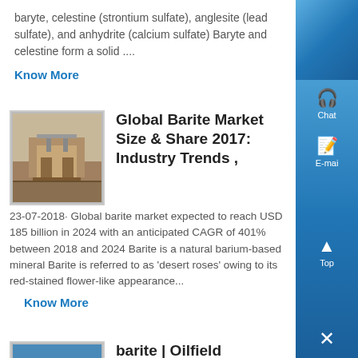baryte, celestine (strontium sulfate), anglesite (lead sulfate), and anhydrite (calcium sulfate) Baryte and celestine form a solid ....
Know More
Global Barite Market Size & Share 2017: Industry Trends ,
23-07-2018· Global barite market expected to reach USD 185 billion in 2024 with an anticipated CAGR of 401% between 2018 and 2024 Barite is a natural barium-based mineral Barite is referred to as 'desert roses' owing to its red-stained flower-like appearance...
Know More
barite | Oilfield Glossary
barite 1 n [Geology] [BaSO4] A dense